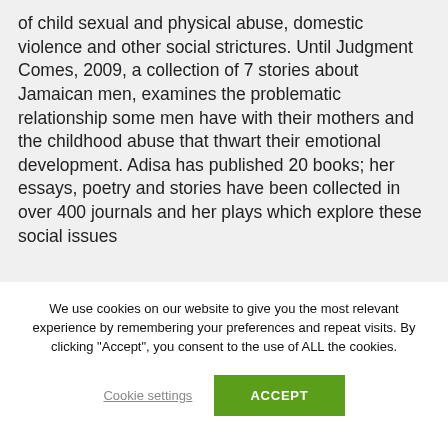of child sexual and physical abuse, domestic violence and other social strictures. Until Judgment Comes, 2009, a collection of 7 stories about Jamaican men, examines the problematic relationship some men have with their mothers and the childhood abuse that thwart their emotional development. Adisa has published 20 books; her essays, poetry and stories have been collected in over 400 journals and her plays which explore these social issues
We use cookies on our website to give you the most relevant experience by remembering your preferences and repeat visits. By clicking "Accept", you consent to the use of ALL the cookies.
Cookie settings
ACCEPT